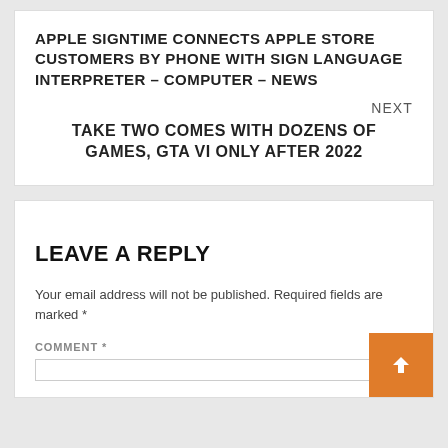APPLE SIGNTIME CONNECTS APPLE STORE CUSTOMERS BY PHONE WITH SIGN LANGUAGE INTERPRETER – COMPUTER – NEWS
NEXT
TAKE TWO COMES WITH DOZENS OF GAMES, GTA VI ONLY AFTER 2022
LEAVE A REPLY
Your email address will not be published. Required fields are marked *
COMMENT *